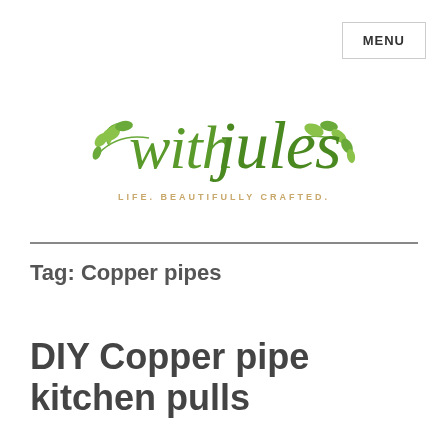[Figure (logo): With Jules logo — cursive green handwritten text 'with jules' with botanical leaf illustration, tagline 'LIFE. BEAUTIFULLY CRAFTED.' in golden uppercase letters]
MENU
Tag: Copper pipes
DIY Copper pipe kitchen pulls